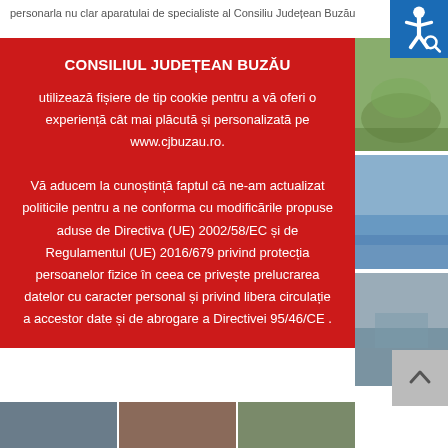personarla nu clar aparatulai de specialiste al Consiliu Județean Buzău
CONSILIUL JUDEȚEAN BUZĂU utilizează fișiere de tip cookie pentru a vă oferi o experiență cât mai plăcută și personalizată pe www.cjbuzau.ro. Vă aducem la cunoștință faptul că ne-am actualizat politicile pentru a ne conforma cu modificările propuse aduse de Directiva (UE) 2002/58/EC și de Regulamentul (UE) 2016/679 privind protecția persoanelor fizice în ceea ce privește prelucrarea datelor cu caracter personal și privind libera circulație a accestor date și de abrogare a Directivei 95/46/CE .
[Figure (photo): Three landscape photos on the right side: green meadow/hills, water/river, bridge/water]
[Figure (photo): Bottom row of landscape photos]